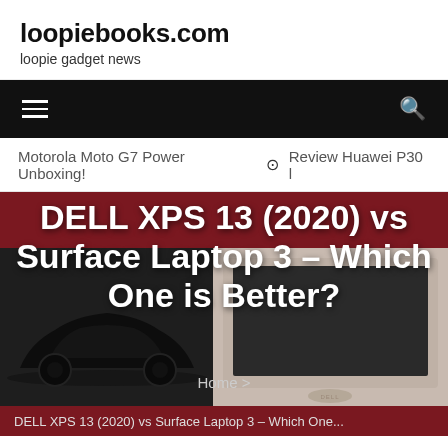loopiebooks.com
loopie gadget news
≡   🔍
Motorola Moto G7 Power Unboxing!   ⊙   Review Huawei P30 l
DELL XPS 13 (2020) vs Surface Laptop 3 – Which One is Better?
[Figure (photo): Hero image with dark car silhouette on left and Dell laptop on right, overlaid on dark red background]
Home >
DELL XPS 13 (2020) vs Surface Laptop 3 – Which One...